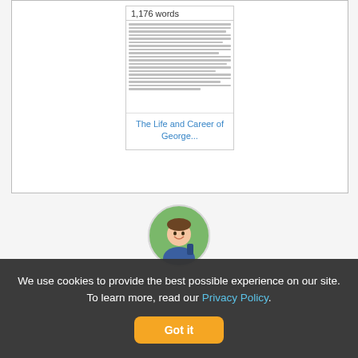[Figure (screenshot): Document preview card showing '1,176 words' count and a thumbnail of dense text content]
The Life and Career of George...
[Figure (photo): Circular avatar photo of a young smiling man with a backpack outdoors]
"Not sure what I'd do without @Kibin"
We use cookies to provide the best possible experience on our site. To learn more, read our Privacy Policy.
Got it